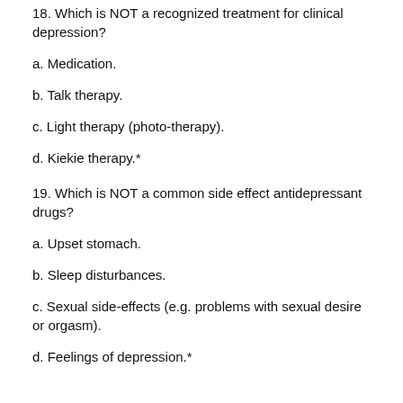18. Which is NOT a recognized treatment for clinical depression?
a. Medication.
b. Talk therapy.
c. Light therapy (photo-therapy).
d. Kiekie therapy.*
19. Which is NOT a common side effect antidepressant drugs?
a. Upset stomach.
b. Sleep disturbances.
c. Sexual side-effects (e.g. problems with sexual desire or orgasm).
d. Feelings of depression.*